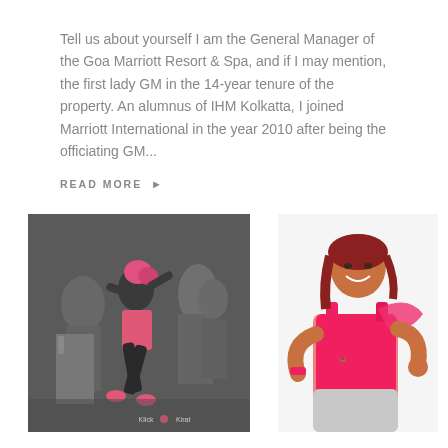Tell us about yourself I am the General Manager of the Goa Marriott Resort & Spa, and if I may mention, the first lady GM in the 14-year tenure of the property. An alumnus of IHM Kolkatta, I joined Marriott International in the year 2010 after being the officiating GM...
READ MORE ▶
[Figure (photo): Black and white photo of a woman with red hair dancing energetically in a crowd, wearing a pink outfit with colorized accents. Watermark reads 'Klick Kirat'.]
[Figure (photo): Color photo of a smiling woman with reddish-brown hair, wearing a pink tank top, posing with hands in a dance gesture. She has a tattoo on her left arm.]